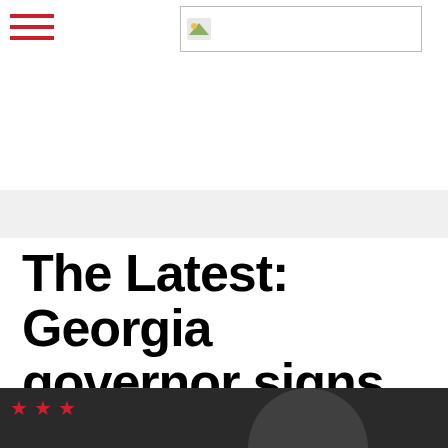[Figure (logo): Website logo placeholder with image icon]
The Latest: Georgia governor signs restrictive abortion ban
Social share icons: Facebook, Twitter, Pinterest, Send
7 May 19:44  National
[Figure (photo): Bottom strip showing partial photo with red star decorations]